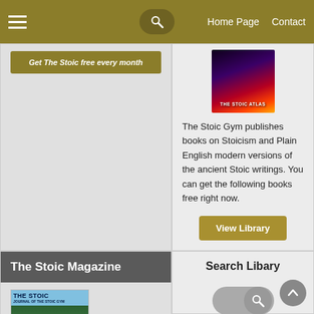Home Page  Contact
Get The Stoic free every month
[Figure (illustration): Book cover for The Stoic Atlas with dark neon background]
The Stoic Gym publishes books on Stoicism and Plain English modern versions of the ancient Stoic writings. You can get the following books free right now.
View Library
The Stoic Magazine
[Figure (illustration): Cover of The Stoic magazine - Journal of the Stoic Gym]
Search Libary
[Figure (other): Search toggle/button icon]